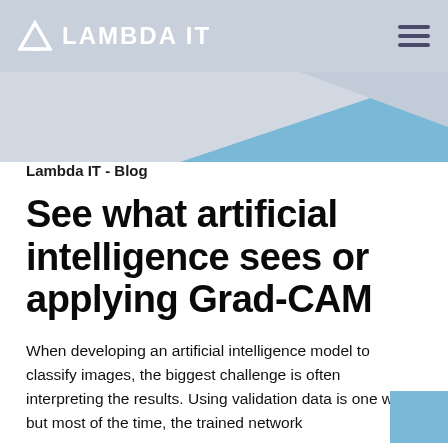LAMBDA IT
[Figure (illustration): Decorative diagonal blue triangle graphic on light gray background, forming the hero banner area]
Lambda IT - Blog
See what artificial intelligence sees or applying Grad-CAM
When developing an artificial intelligence model to classify images, the biggest challenge is often interpreting the results. Using validation data is one way, but most of the time, the trained network